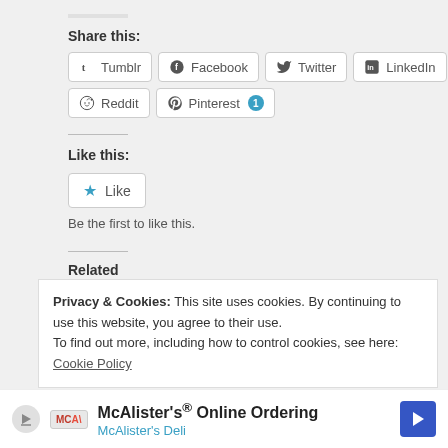Share this:
Tumblr Facebook Twitter LinkedIn Reddit Pinterest 1
Like this:
Like
Be the first to like this.
Related
[Figure (photo): Related article thumbnail image]
S. Morishita's Studio
Privacy & Cookies: This site uses cookies. By continuing to use this website, you agree to their use. To find out more, including how to control cookies, see here: Cookie Policy
McAlister's® Online Ordering McAlister's Deli